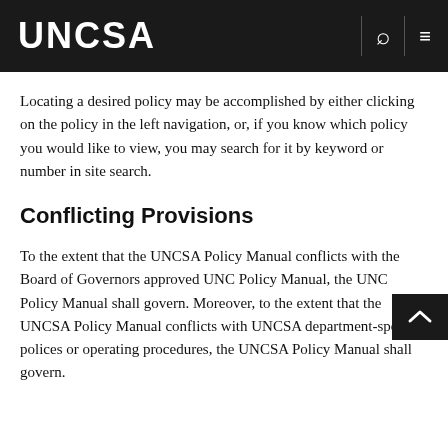UNCSA
Locating a desired policy may be accomplished by either clicking on the policy in the left navigation, or, if you know which policy you would like to view, you may search for it by keyword or number in site search.
Conflicting Provisions
To the extent that the UNCSA Policy Manual conflicts with the Board of Governors approved UNC Policy Manual, the UNC Policy Manual shall govern. Moreover, to the extent that the UNCSA Policy Manual conflicts with UNCSA department-specific polices or operating procedures, the UNCSA Policy Manual shall govern.